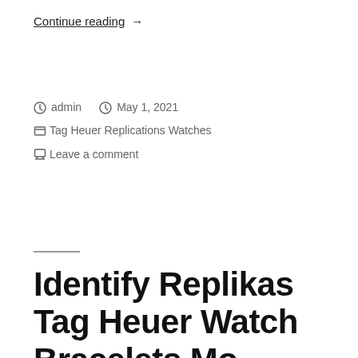Continue reading →
admin  May 1, 2021
Tag Heuer Replications Watches
Leave a comment
Identify Replikas Tag Heuer Watch Bracelets Mo…